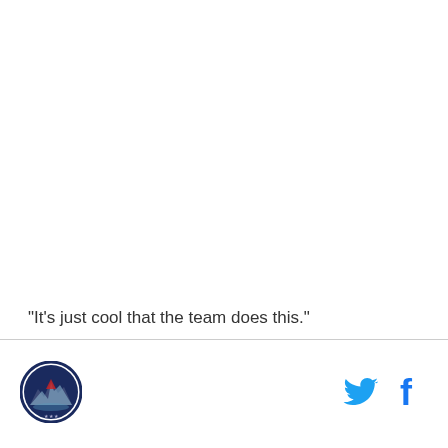"It's just cool that the team does this."
[Figure (logo): Circular team logo with dark blue border and imagery inside]
[Figure (logo): Twitter bird icon in blue]
[Figure (logo): Facebook 'f' icon in blue]